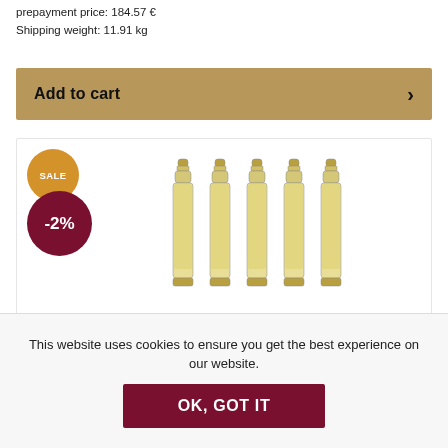prepayment price: 184.57 €
Shipping weight: 11.91 kg
Add to cart
[Figure (photo): Five bottles of Prinz Alter Bodenseeapfel 1.0l with SALE -2% badge overlay]
5 bottles Prinz Alter Bodenseeapfel 1.0l (Old Apple brandy) with 5x0.02l fruit brandy miniatures (da
159.99 € * 163.95 €*
This website uses cookies to ensure you get the best experience on our website.
OK, GOT IT